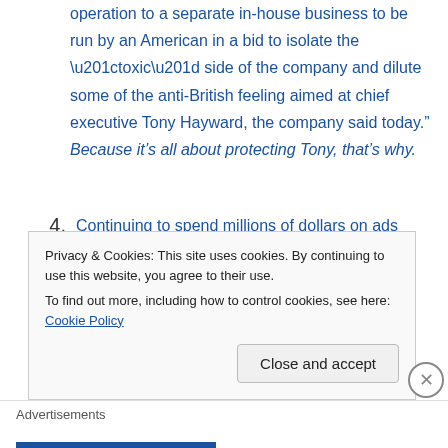operation to a separate in-house business to be run by an American in a bid to isolate the “toxic” side of the company and dilute some of the anti-British feeling aimed at chief executive Tony Hayward, the company said today.” Because it’s all about protecting Tony, that’s why.
4. Continuing to spend millions of dollars on ads promising to fix the damage its done and emphasizing how much effort it is putting into stopping the catastrophe it created.
5. Put together an internal report on the disaster so
Privacy & Cookies: This site uses cookies. By continuing to use this website, you agree to their use.
To find out more, including how to control cookies, see here: Cookie Policy
Advertisements